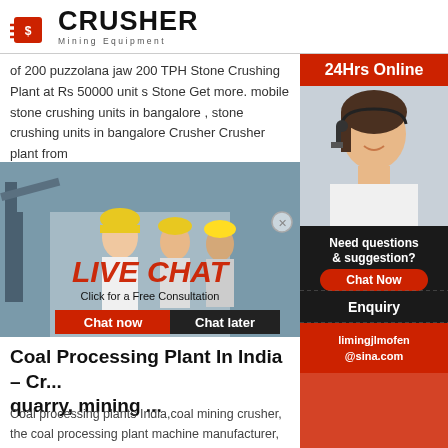[Figure (logo): Crusher Mining Equipment logo with red shopping bag icon and bold CRUSHER text]
of 200 puzzolana jaw 200 TPH Stone Crushing Plant at Rs 50000 unit s Stone Get more. mobile stone crushing units in bangalore , stone crushing units in bangalore Crusher Crusher plant from
Read More
[Figure (screenshot): Live Chat advertisement banner with workers in hard hats, LIVE CHAT heading, Click for a Free Consultation subtitle, Chat now and Chat later buttons]
Coal Processing Plant In India - Crusher, quarry, mining ...
Coal processing plants India,coal mining crusher, the coal processing plant machine manufacturer, introduce the main useful equipment to
Read More
[Figure (photo): Partial thumbnail of mining/crushing machinery at bottom of page]
[Figure (infographic): Right sidebar: 24Hrs Online banner, customer service agent photo, Need questions & suggestion panel with Chat Now button, Enquiry section, limingjlmofen@sina.com email]